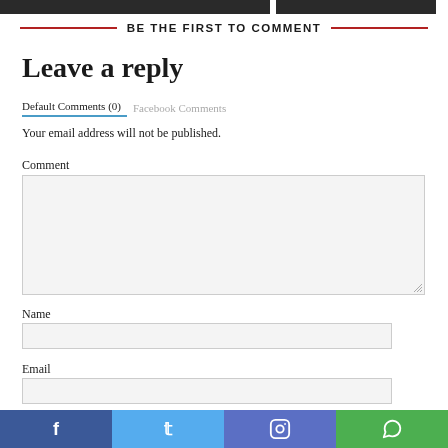BE THE FIRST TO COMMENT
Leave a reply
Default Comments (0)   Facebook Comments
Your email address will not be published.
Comment
Name
Email